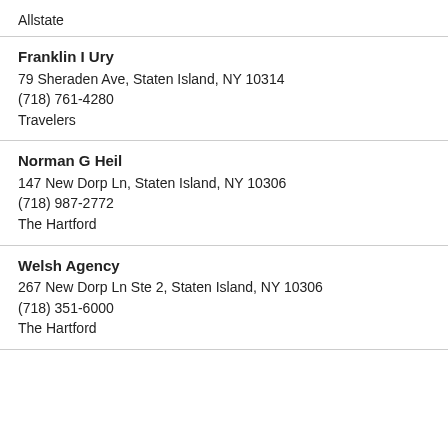Allstate
Franklin I Ury
79 Sheraden Ave, Staten Island, NY 10314
(718) 761-4280
Travelers
Norman G Heil
147 New Dorp Ln, Staten Island, NY 10306
(718) 987-2772
The Hartford
Welsh Agency
267 New Dorp Ln Ste 2, Staten Island, NY 10306
(718) 351-6000
The Hartford